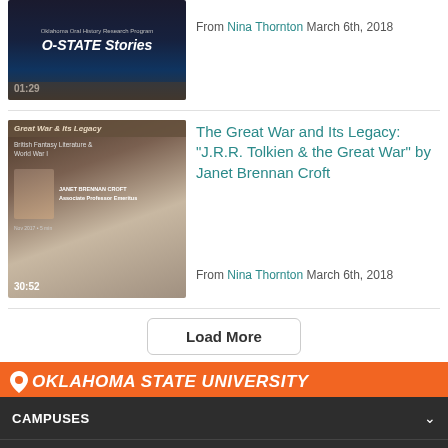[Figure (screenshot): Thumbnail for O-STATE Stories video, duration 01:29]
From Nina Thornton March 6th, 2018
[Figure (screenshot): Thumbnail for The Great War and Its Legacy video, duration 30:52]
The Great War and Its Legacy: "J.R.R. Tolkien & the Great War" by Janet Brennan Croft
From Nina Thornton March 6th, 2018
Load More
OKLAHOMA STATE UNIVERSITY
CAMPUSES
UNIVERSITY LINKS
RESOURCES